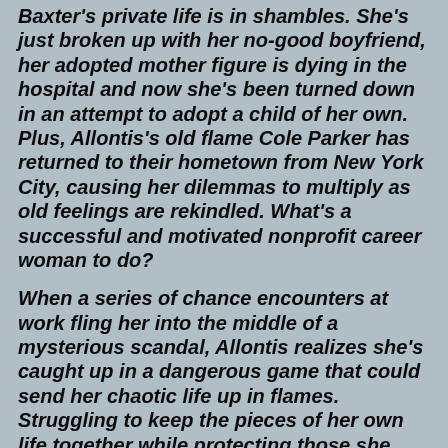Baxter's private life is in shambles. She's just broken up with her no-good boyfriend, her adopted mother figure is dying in the hospital and now she's been turned down in an attempt to adopt a child of her own. Plus, Allontis's old flame Cole Parker has returned to their hometown from New York City, causing her dilemmas to multiply as old feelings are rekindled. What's a successful and motivated nonprofit career woman to do?
When a series of chance encounters at work fling her into the middle of a mysterious scandal, Allontis realizes she's caught up in a dangerous game that could send her chaotic life up in flames. Struggling to keep the pieces of her own life together while protecting those she loves, Allontis is forced to confront the true meaning of family and to face some demons of her own.